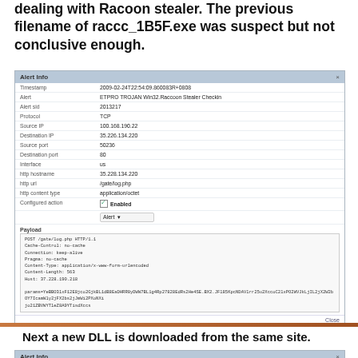dealing with Racoon stealer. The previous filename of raccc_1B5F.exe was suspect but not conclusive enough.
[Figure (screenshot): Alert info panel showing network alert details including timestamp, alert type ETPRO TROJAN Win32.Raccoon Stealer checkin, alert id 2013217, protocol TCP, source IP 100.168.190.22, destination IP 35.228.134.220, source port 50236, destination port 80, interface us, http hostname 35.228.134.220, http url /gate/log.php, http content type application/octet, configured action enabled/Alert, Payload section with HTTP POST request and encoded params.]
Next a new DLL is downloaded from the same site.
[Figure (screenshot): Second alert info panel showing timestamp 2020-03-26T21:19:20.484596+0000, Alert ET CURRENT_EVENTS Likely Evil DLL download from dotted Quad by MSO FTP NG, Alert id 2021858, Protocol TCP, Source IP 37.228.134.120, Destination IP partially visible.]